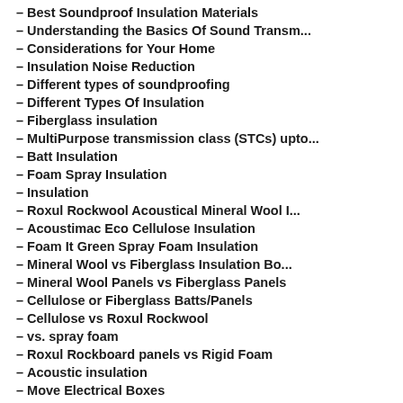– Best Soundproof Insulation Materials
– Understanding the Basics Of Sound Transm...
– Considerations for Your Home
– Insulation Noise Reduction
– Different types of soundproofing
– Different Types Of Insulation
– Fiberglass insulation
– MultiPurpose transmission class (STCs) upto...
– Batt Insulation
– Foam Spray Insulation
– Insulation
– Roxul Rockwool Acoustical Mineral Wool I...
– Acoustimac Eco Cellulose Insulation
– Foam It Green Spray Foam Insulation
– Mineral Wool vs Fiberglass Insulation Bo...
– Mineral Wool Panels vs Fiberglass Panels
– Cellulose or Fiberglass Batts/Panels
– Cellulose vs Roxul Rockwool
– vs. spray foam
– Roxul Rockboard panels vs Rigid Foam
– Acoustic insulation
– Move Electrical Boxes
– Sign the Boxes